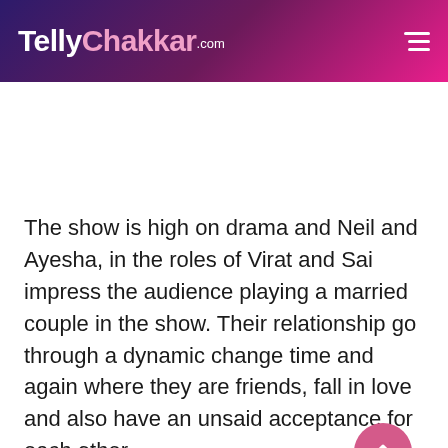TellyChakkar.com
The show is high on drama and Neil and Ayesha, in the roles of Virat and Sai impress the audience playing a married couple in the show. Their relationship go through a dynamic change time and again where they are friends, fall in love and also have an unsaid acceptance for each other.
ADVERTISEMENT